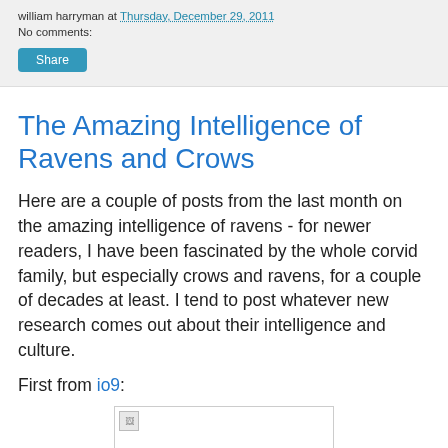william harryman at Thursday, December 29, 2011
No comments:
Share
The Amazing Intelligence of Ravens and Crows
Here are a couple of posts from the last month on the amazing intelligence of ravens - for newer readers, I have been fascinated by the whole corvid family, but especially crows and ravens, for a couple of decades at least. I tend to post whatever new research comes out about their intelligence and culture.
First from io9:
[Figure (photo): Broken/loading image placeholder inside a bordered box]